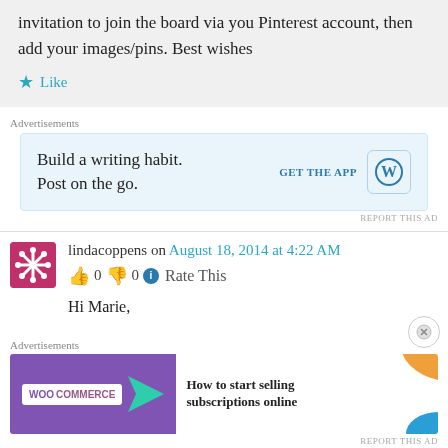invitation to join the board via you Pinterest account, then add your images/pins. Best wishes
★ Like
Advertisements
[Figure (screenshot): WordPress app advertisement: 'Build a writing habit. Post on the go.' with GET THE APP button and WordPress logo]
REPORT THIS AD
lindacoppens on August 18, 2014 at 4:22 AM
👍 0 👎 0 ℹ Rate This
Hi Marie,
Advertisements
[Figure (screenshot): WooCommerce advertisement: 'How to start selling subscriptions online']